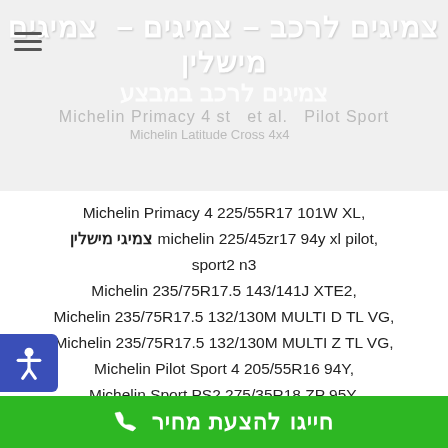צמיגים לרכב – צמיגים – צמיגים מישלין
צמיגים לרכב במבצע
Michelin Primacy 4 st et al. Pilot Sport
Michelin Latitude Cross 4x4
Michelin Primacy 4 225/55R17 101W XL,
צמיגי מישלין michelin 225/45zr17 94y xl pilot, sport2 n3
Michelin 235/75R17.5 143/141J XTE2,
Michelin 235/75R17.5 132/130M MULTI D TL VG,
Michelin 235/75R17.5 132/130M MULTI Z TL VG,
Michelin Pilot Sport 4 205/55R16 94Y,
Michelin Sport PS2 275/35R18 ZP 95Y,
חייגו להצעת מחיר